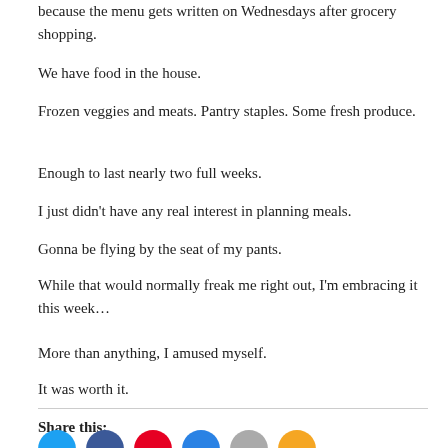because the menu gets written on Wednesdays after grocery shopping.
We have food in the house.
Frozen veggies and meats. Pantry staples. Some fresh produce.
Enough to last nearly two full weeks.
I just didn’t have any real interest in planning meals.
Gonna be flying by the seat of my pants.
While that would normally freak me right out, I’m embracing it this week…
More than anything, I amused myself.
It was worth it.
Share this:
[Figure (other): Row of social sharing icon circles: Twitter/blue, Facebook/blue, Pinterest/red, a blue circle, a gray circle, and an orange/yellow circle]